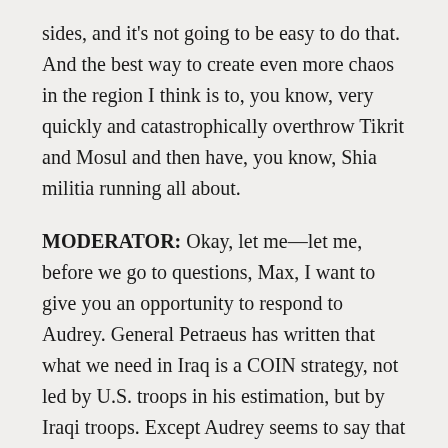sides, and it's not going to be easy to do that. And the best way to create even more chaos in the region I think is to, you know, very quickly and catastrophically overthrow Tikrit and Mosul and then have, you know, Shia militia running all about.
MODERATOR: Okay, let me—let me, before we go to questions, Max, I want to give you an opportunity to respond to Audrey. General Petraeus has written that what we need in Iraq is a COIN strategy, not led by U.S. troops in his estimation, but by Iraqi troops. Except Audrey seems to say that COIN is no longer applicable here because it is not like the uprising in Iraq in 2006, 2007. We need a different strategy that's not COINed-based.